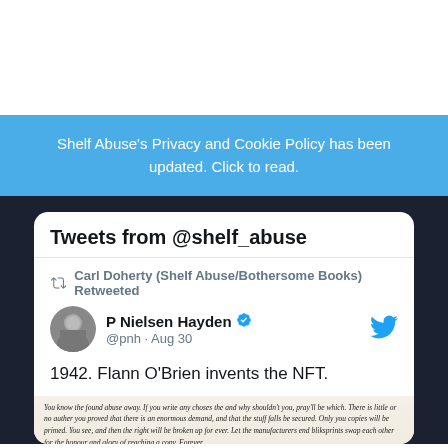Shelf Abuse's Privacy and Cookie Policy has been updated. Click to read.
Tweets from @shelf_abuse
Carl Doherty (Shelf Abuse/Bothersome Books) Retweeted
P Nielsen Hayden @pnh · Aug 30
1942. Flann O'Brien invents the NFT.
[Figure (screenshot): Screenshot of a book page with dense italic text, partially legible]